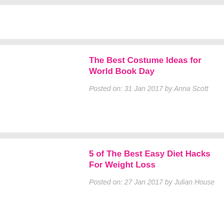[Figure (other): Partially visible card image placeholder at top]
The Best Costume Ideas for World Book Day
Posted on: 31 Jan 2017 by Anna Scott
5 of The Best Easy Diet Hacks For Weight Loss
Posted on: 27 Jan 2017 by Julian House
What is the Best Time to